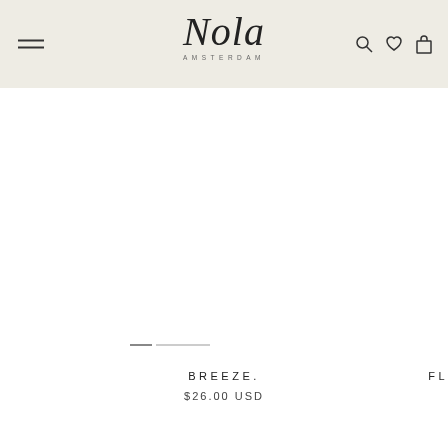Nola Amsterdam — navigation header with hamburger menu, logo, search, wishlist, and cart icons
[Figure (photo): Product image area for BREEZE. product, white background with carousel navigation dots]
BREEZE.
$26.00 USD
FL